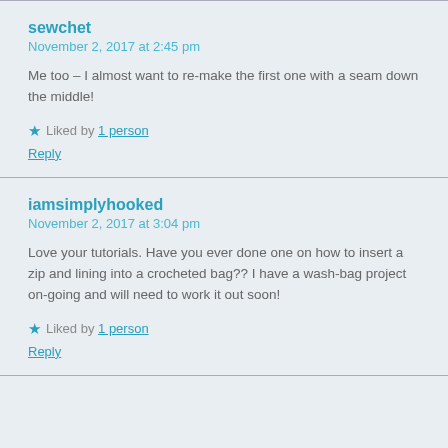sewchet
November 2, 2017 at 2:45 pm
Me too – I almost want to re-make the first one with a seam down the middle!
★ Liked by 1 person
Reply
iamsimplyhooked
November 2, 2017 at 3:04 pm
Love your tutorials. Have you ever done one on how to insert a zip and lining into a crocheted bag?? I have a wash-bag project on-going and will need to work it out soon!
★ Liked by 1 person
Reply